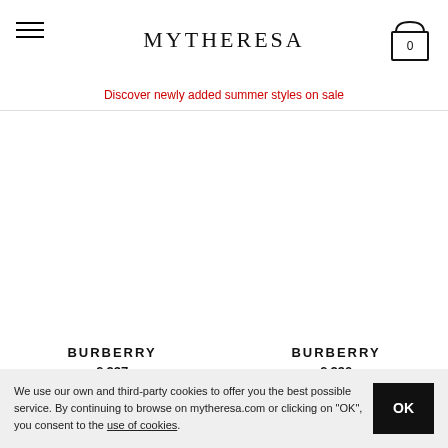MYTHERESA
Discover newly added summer styles on sale
[Figure (photo): Burberry product image placeholder (left)]
BURBERRY
€ 237
[Figure (photo): Burberry product image placeholder (right)]
BURBERRY
€ 290
We use our own and third-party cookies to offer you the best possible service. By continuing to browse on mytheresa.com or clicking on "OK", you consent to the use of cookies.